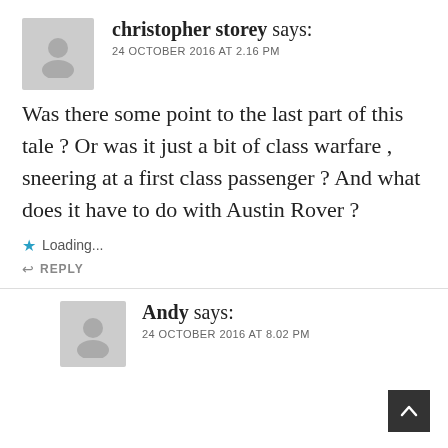christopher storey says: 24 OCTOBER 2016 AT 2.16 PM
Was there some point to the last part of this tale ? Or was it just a bit of class warfare , sneering at a first class passenger ? And what does it have to do with Austin Rover ?
Loading...
REPLY
Andy says: 24 OCTOBER 2016 AT 8.02 PM